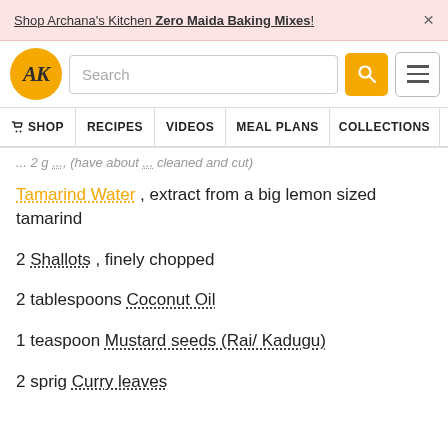Shop Archana's Kitchen Zero Maida Baking Mixes!
[Figure (screenshot): Archana's Kitchen website navigation bar with logo, search box, search button, and hamburger menu]
... 2 g ..., (have about ...) cleaned and cut
Tamarind Water , extract from a big lemon sized tamarind
2 Shallots , finely chopped
2 tablespoons Coconut Oil
1 teaspoon Mustard seeds (Rai/ Kadugu)
2 sprig Curry leaves